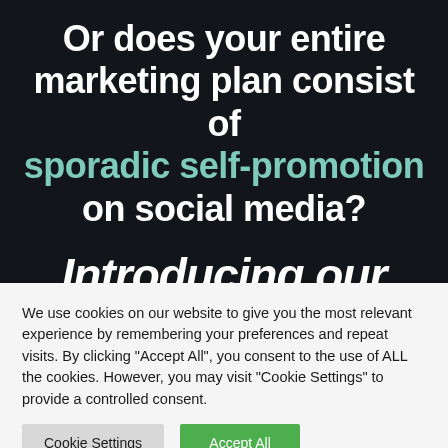Or does your entire marketing plan consist of sporadic self-promotion on social media?
Introducing our
We use cookies on our website to give you the most relevant experience by remembering your preferences and repeat visits. By clicking "Accept All", you consent to the use of ALL the cookies. However, you may visit "Cookie Settings" to provide a controlled consent.